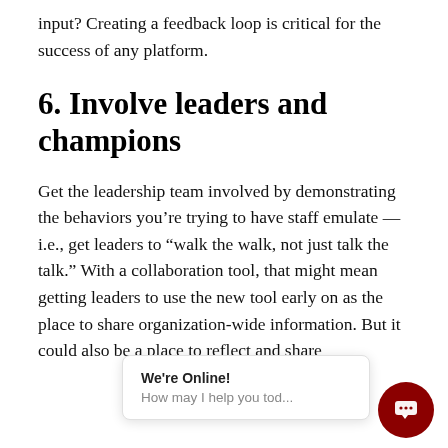input? Creating a feedback loop is critical for the success of any platform.
6. Involve leaders and champions
Get the leadership team involved by demonstrating the behaviors you’re trying to have staff emulate — i.e., get leaders to “walk the walk, not just talk the talk.” With a collaboration tool, that might mean getting leaders to use the new tool early on as the place to share organization-wide information. But it could also be a place to reflect and share…